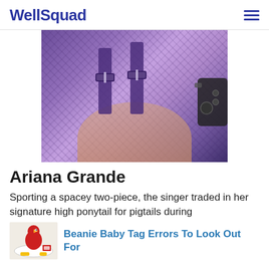WellSquad
[Figure (photo): Close-up photo of a person wearing a metallic purple/iridescent two-piece outfit with buckled straps, with a camera or equipment visible at right edge]
Ariana Grande
Sporting a spacey two-piece, the singer traded in her signature high ponytail for pigtails during
[Figure (photo): Small thumbnail image of a Beanie Baby toy (red/pink bird figure) on a plate with yellow and red accessories]
Beanie Baby Tag Errors To Look Out For